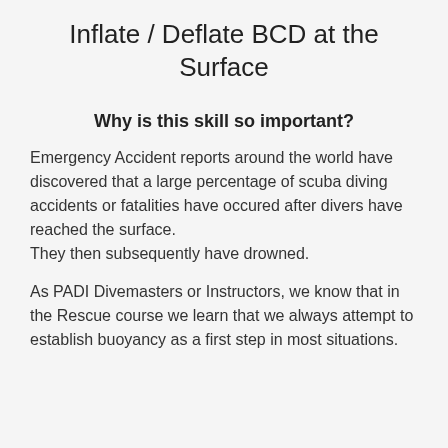Inflate / Deflate BCD at the Surface
Why is this skill so important?
Emergency Accident reports around the world have discovered that a large percentage of scuba diving accidents or fatalities have occured after divers have reached the surface. They then subsequently have drowned.
As PADI Divemasters or Instructors, we know that in the Rescue course we learn that we always attempt to establish buoyancy as a first step in most situations.